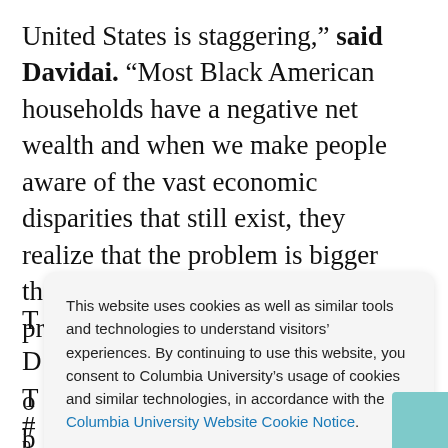United States is staggering," said Davidai. "Most Black American households have a negative net wealth and when we make people aware of the vast economic disparities that still exist, they realize that the problem is bigger than just racial and social progress."
This website uses cookies as well as similar tools and technologies to understand visitors' experiences. By continuing to use this website, you consent to Columbia University's usage of cookies and similar technologies, in accordance with the Columbia University Website Cookie Notice.